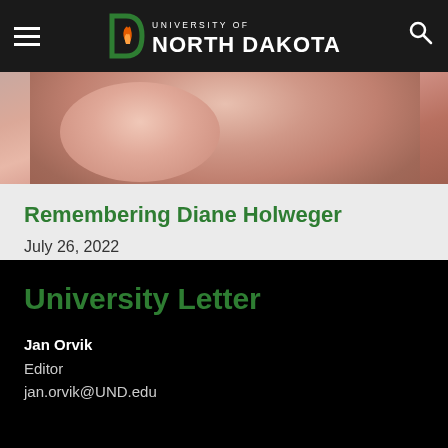University of North Dakota
[Figure (photo): Partial photo of a person, reddish/warm tones, cropped at top of article card]
Remembering Diane Holweger
July 26, 2022
University Letter
Jan Orvik
Editor
jan.orvik@UND.edu